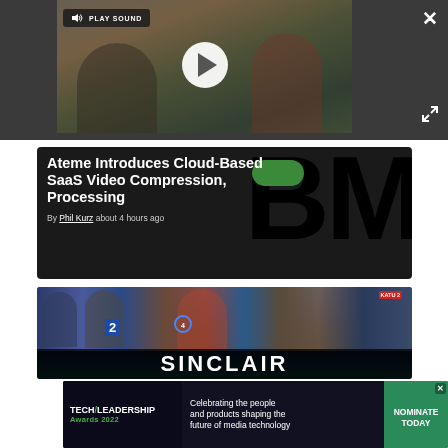[Figure (screenshot): Video player thumbnail showing two people, with a play button overlay and 'PLAY SOUND' label in the top-left corner. Close (X) and expand buttons visible on the right.]
Ateme Introduces Cloud-Based SaaS Video Compression, Processing
By Phil Kurz about 4 hours ago
[Figure (photo): Sinclair broadcast media promotional image showing multiple TV news anchors arranged in a curved display. The word SINCLAIR appears at the bottom in large white letters.]
[Figure (screenshot): Tech Leadership Awards 2022 advertisement banner. Text reads: 'Celebrating the people and products shaping the future of media technology'. A green button on the right says 'NOMINATE TODAY'.]